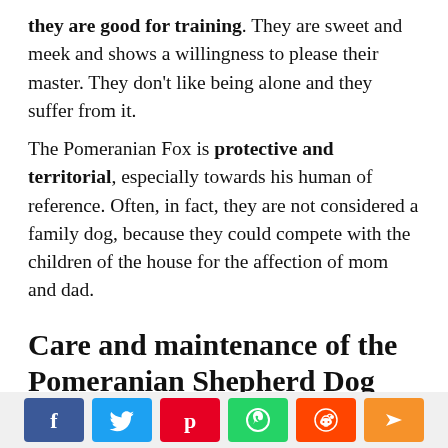they are good for training. They are sweet and meek and shows a willingness to please their master. They don't like being alone and they suffer from it.
The Pomeranian Fox is protective and territorial, especially towards his human of reference. Often, in fact, they are not considered a family dog, because they could compete with the children of the house for the affection of mom and dad.
Care and maintenance of the Pomeranian Shepherd Dog
But how to keep all that fur smooth and shiny? The
[Figure (infographic): Social media sharing bar with buttons for Facebook, Twitter, Pinterest, WhatsApp, Reddit, and a share/forward button]